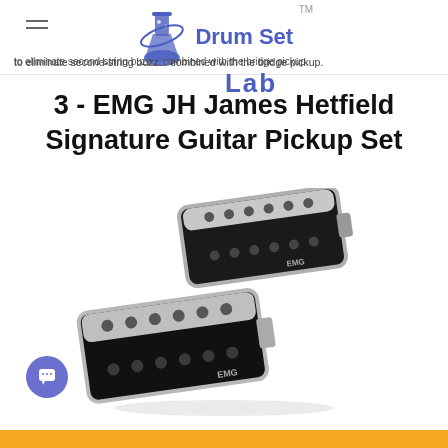Drum Set Lab™
to eliminate second-string buzz... combined with the bridge pickup.
3 - EMG JH James Hetfield Signature Guitar Pickup Set
[Figure (photo): Two EMG JH James Hetfield Signature humbucker guitar pickups, black with chrome trim, showing pole pieces. EMG branding visible on each pickup.]